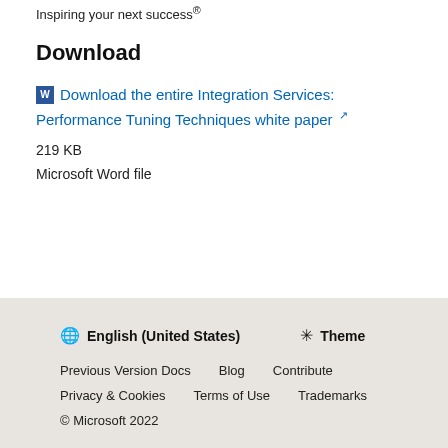Inspiring your next success®
Download
Download the entire Integration Services: Performance Tuning Techniques white paper
219 KB
Microsoft Word file
English (United States)  Theme
Previous Version Docs  Blog  Contribute
Privacy & Cookies  Terms of Use  Trademarks
© Microsoft 2022